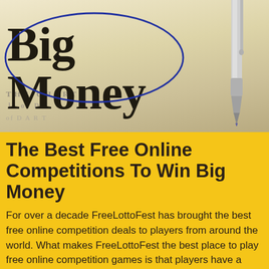[Figure (photo): Close-up photo of a newspaper or document showing the text 'Big Money' in large bold serif font with a magnifying glass ellipse overlay and a silver pen/ballpoint pen in the upper right corner. Background shows faint text including 'THE CHART' and similar text.]
The Best Free Online Competitions To Win Big Money
For over a decade FreeLottoFest has brought the best free online competition deals to players from around the world. What makes FreeLottoFest the best place to play free online competition games is that players have a choice of the best online competition deals